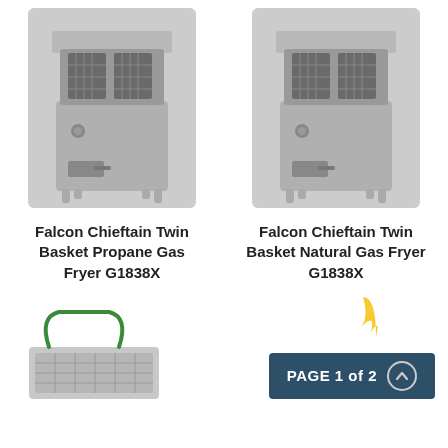[Figure (photo): Falcon Chieftain Twin Basket Propane Gas Fryer G1838X - stainless steel commercial fryer with two baskets]
Falcon Chieftain Twin Basket Propane Gas Fryer G1838X
[Figure (photo): Falcon Chieftain Twin Basket Natural Gas Fryer G1838X - stainless steel commercial fryer with two baskets]
Falcon Chieftain Twin Basket Natural Gas Fryer G1838X
[Figure (photo): Commercial fryer basket accessory with green handles]
[Figure (photo): Partial image with flame visible, PAGE 1 of 2 badge overlay]
PAGE 1 of 2